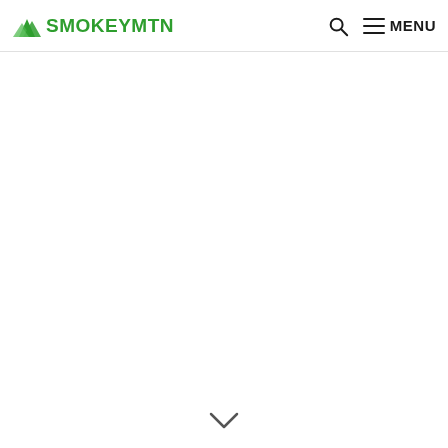SMOKYMTN  🔍  ≡ MENU
[Figure (other): Empty white content area below navigation header]
[Figure (other): Chevron/arrow pointing downward at the bottom of the page]